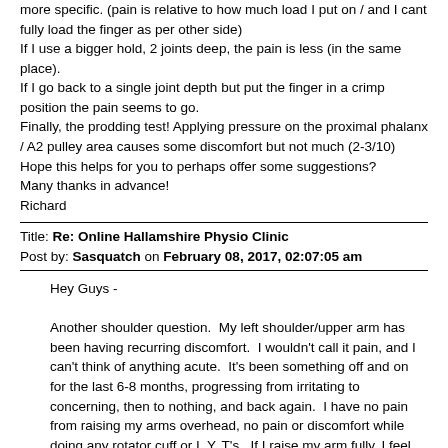more specific. (pain is relative to how much load I put on / and I cant fully load the finger as per other side)
If I use a bigger hold, 2 joints deep, the pain is less (in the same place).
If I go back to a single joint depth but put the finger in a crimp position the pain seems to go.
Finally, the prodding test! Applying pressure on the proximal phalanx / A2 pulley area causes some discomfort but not much (2-3/10)
Hope this helps for you to perhaps offer some suggestions?
Many thanks in advance!
Richard
Title: Re: Online Hallamshire Physio Clinic
Post by: Sasquatch on February 08, 2017, 02:07:05 am
Hey Guys -

Another shoulder question.  My left shoulder/upper arm has been having recurring discomfort.  I wouldn't call it pain, and I can't think of anything acute.  It's been something off and on for the last 6-8 months, progressing from irritating to concerning, then to nothing, and back again.  I have no pain from raising my arms overhead, no pain or discomfort while doing any rotator cuff or I, Y, T's.  If I raise my arm fully, I feel a "stretching" sensation in my lat? near the tricep.  If I hang from a bar, I feel discomfort in my upper bicep/deltoid area while warming up. Once warmed up fully, I don't notice anything really until the end of a very long session.  My gut says I may